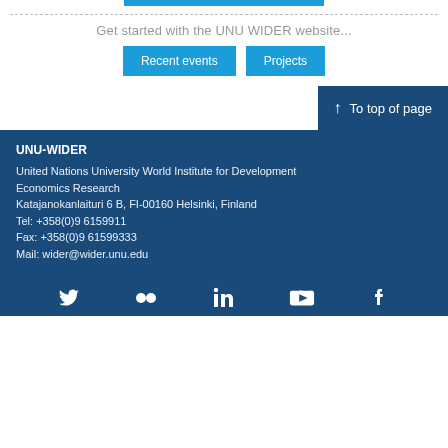Get started with the UNU WIDER website...
Recent events
Projects
To top of page
UNU-WIDER
United Nations University World Institute for Development Economics Research
Katajanokanlaituri 6 B, FI-00160 Helsinki, Finland
Tel: +358(0)9 6159911
Fax: +358(0)9 61599333
Mail: wider@wider.unu.edu
[Figure (infographic): Social media icons: Twitter, Flickr, LinkedIn, YouTube, Facebook]